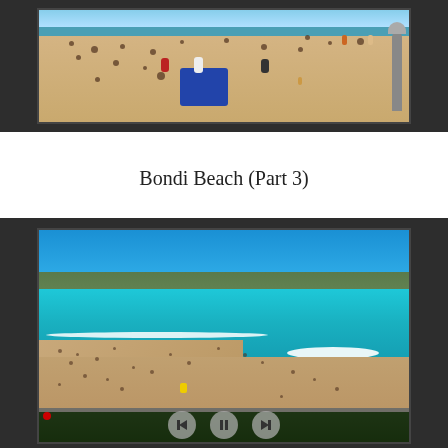[Figure (photo): Crowded beach scene (top portion cut off) showing sandy beach with many people, a blue tent/chair, and a pole on the right side, inside a dark video player frame]
Bondi Beach (Part 3)
[Figure (photo): Aerial view of Bondi Beach showing clear blue sky, turquoise ocean with white waves, sandy beach crowded with people, coastal headland with buildings in the distance, vegetation fence in foreground, inside a dark video player frame with playback controls]